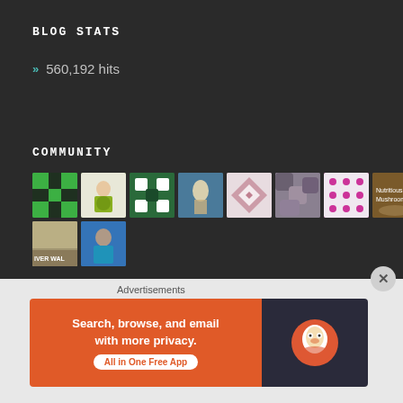BLOG STATS
» 560,192 hits
COMMUNITY
[Figure (infographic): Grid of community member avatar thumbnails: green puzzle pattern, woman with salad, green geometric pattern, blonde figure on blue, pink quilt pattern, purple/grey camo pattern, pink dotted pattern, mushrooms photo, river walk photo, woman selfie in blue]
Advertisements
[Figure (infographic): DuckDuckGo advertisement banner: orange left side reading 'Search, browse, and email with more privacy. All in One Free App', dark right side with DuckDuckGo duck logo]